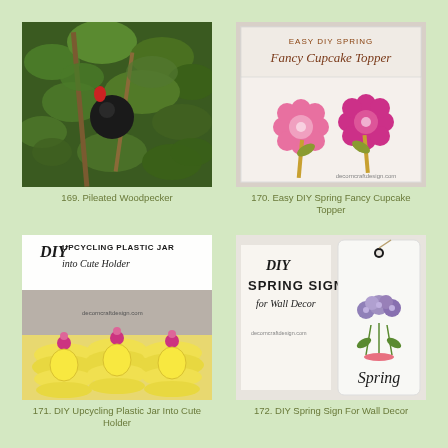[Figure (photo): Photo of a Pileated Woodpecker among green tree branches with a dark round object visible]
169. Pileated Woodpecker
[Figure (photo): Photo of Easy DIY Spring Fancy Cupcake Topper showing two pink glittery flower-shaped toppers on sticks against a light background with text 'EASY DIY SPRING Fancy Cupcake Topper' and 'decorncraftdesign.com']
170. Easy DIY Spring Fancy Cupcake Topper
[Figure (photo): Photo of DIY Upcycling Plastic Jar into Cute Holder showing yellow ruffled jar holders with small pink flower accents, text 'DIY UPCYCLING PLASTIC JAR into Cute Holder' and 'decorncraftdesign.com']
171. DIY Upcycling Plastic Jar Into Cute Holder
[Figure (photo): Photo of DIY Spring Sign For Wall Decor showing a large white tag-shaped sign with 'DIY Spring Sign for Wall Decor' and a floral illustration, with 'Spring' text, and 'decorncraftdesign.com']
172. DIY Spring Sign For Wall Decor